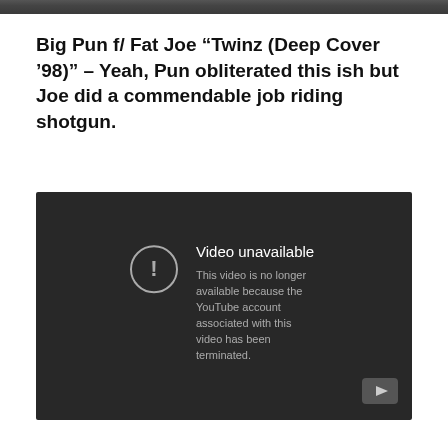[Figure (screenshot): Top strip of a dark photograph/image, partially cropped at the top of the page]
Big Pun f/ Fat Joe “Twinz (Deep Cover ’98)” – Yeah, Pun obliterated this ish but Joe did a commendable job riding shotgun.
[Figure (screenshot): YouTube embedded video player showing 'Video unavailable' error message: 'This video is no longer available because the YouTube account associated with this video has been terminated.' Dark grey background with exclamation icon and YouTube logo in bottom right.]